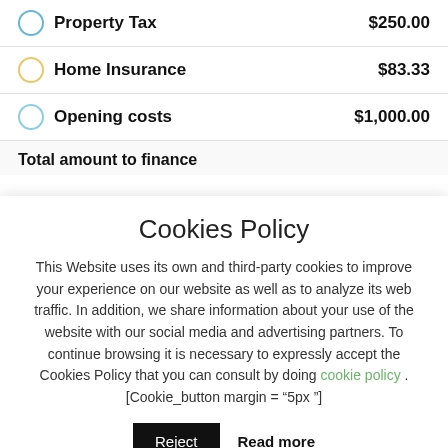Property Tax   $250.00
Home Insurance   $83.33
Opening costs   $1,000.00
Total amount to finance
Cookies Policy
This Website uses its own and third-party cookies to improve your experience on our website as well as to analyze its web traffic. In addition, we share information about your use of the website with our social media and advertising partners. To continue browsing it is necessary to expressly accept the Cookies Policy that you can consult by doing cookie policy . [Cookie_button margin = "5px "]
Reject   Read more